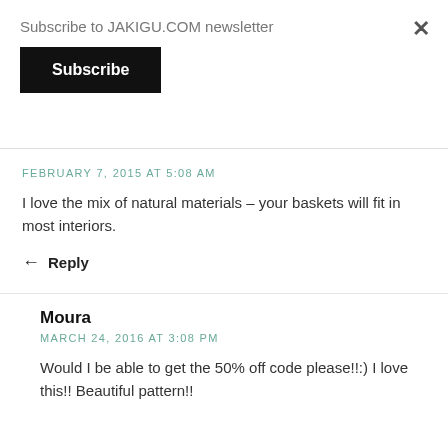Subscribe to JAKIGU.COM newsletter
Subscribe
×
FEBRUARY 7, 2015 AT 5:08 AM
I love the mix of natural materials – your baskets will fit in most interiors.
Reply
Moura
MARCH 24, 2016 AT 3:08 PM
Would I be able to get the 50% off code please!!:) I love this!! Beautiful pattern!!